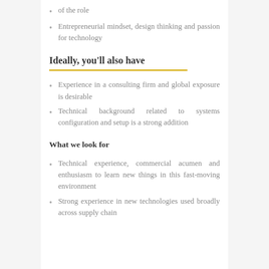of the role
Entrepreneurial mindset, design thinking and passion for technology
Ideally, you'll also have
Experience in a consulting firm and global exposure is desirable
Technical background related to systems configuration and setup is a strong addition
What we look for
Technical experience, commercial acumen and enthusiasm to learn new things in this fast-moving environment
Strong experience in new technologies used broadly across supply chain